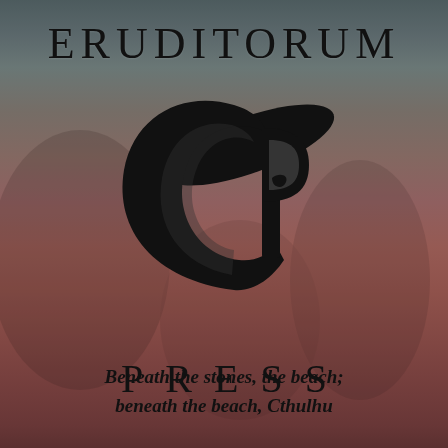[Figure (logo): Eruditorum Press logo page with stylized 'EP' monogram in black over a dark reddish-brown background with faded classical figures. Text reads ERUDITORUM at top, stylized EP logo in center, PRESS below, and italic tagline at bottom.]
ERUDITORUM
PRESS
Beneath the stones, the beach; beneath the beach, Cthulhu